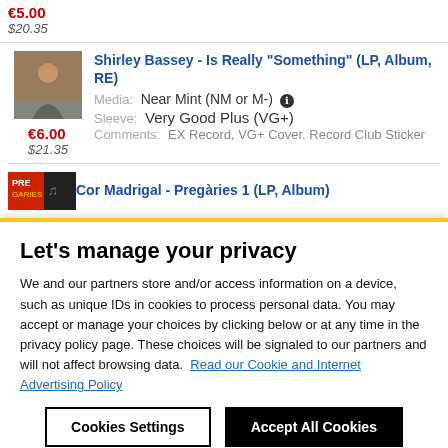€5.00
$20.35
[Figure (photo): Album cover for Shirley Bassey - Is Really Something]
Shirley Bassey - Is Really "Something" (LP, Album, RE)
Media: Near Mint (NM or M-) [info]
Sleeve: Very Good Plus (VG+)
Comments: EX Record, VG+ Cover. Record Club Sticker
€6.00
$21.35
[Figure (photo): Album cover for Cor Madrigal - Pregàries 1]
Cor Madrigal - Pregàries 1 (LP, Album)
Let's manage your privacy
We and our partners store and/or access information on a device, such as unique IDs in cookies to process personal data. You may accept or manage your choices by clicking below or at any time in the privacy policy page. These choices will be signaled to our partners and will not affect browsing data. Read our Cookie and Internet Advertising Policy
Cookies Settings
Accept All Cookies